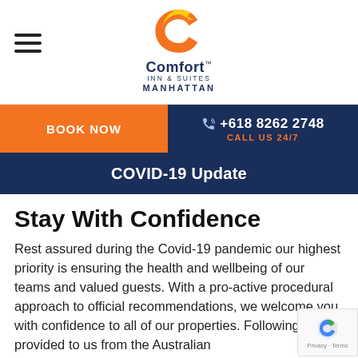[Figure (logo): Comfort Inn & Suites Manhattan logo with orange C icon]
BOOK NOW | +618 8262 2748 CALL US 24/7
COVID-19 Update
Stay With Confidence
Rest assured during the Covid-19 pandemic our highest priority is ensuring the health and wellbeing of our teams and valued guests. With a pro-active procedural approach to official recommendations, we welcome you with confidence to all of our properties. Following advice provided to us from the Australian